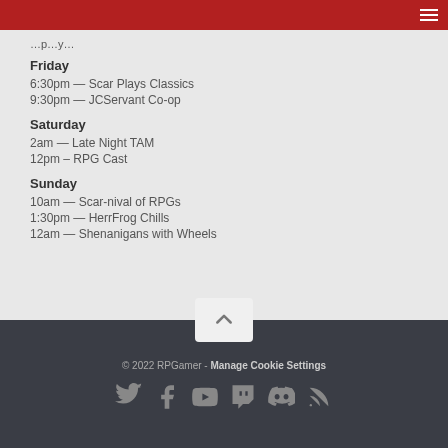…p…y…
Friday
6:30pm — Scar Plays Classics
9:30pm — JCServant Co-op
Saturday
2am — Late Night TAM
12pm – RPG Cast
Sunday
10am — Scar-nival of RPGs
1:30pm — HerrFrog Chills
12am — Shenanigans with Wheels
© 2022 RPGamer - Manage Cookie Settings